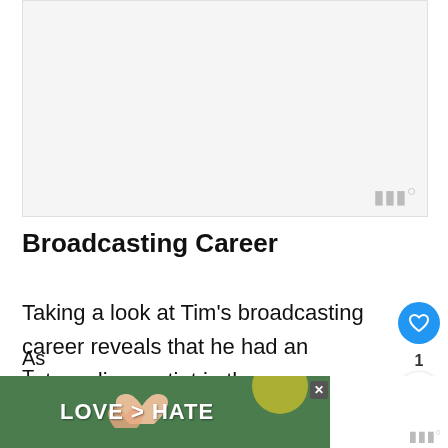[Figure (other): Advertisement placeholder — light gray rectangle with a watermark logo in the bottom-right corner]
Broadcasting Career
Taking a look at Tim's broadcasting career reveals that he had an extraordinary stint in the commentators' booth.
[Figure (photo): Bottom banner advertisement showing two hands forming a heart shape with text 'LOVE > HATE', with a close button and a watermark logo on the right side]